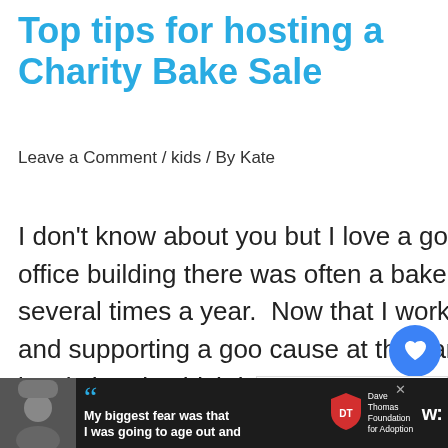Top tips for hosting a Charity Bake Sale
Leave a Comment / kids / By Kate
I don't know about you but I love a good bake sale.  When I worked in an office building there was often a bake sale to support fundraising efforts several times a year.  Now that I work from home I miss trying new treats, and supporting a good cause at the same time.  Recently been attending a local church which just did some upgrades to their aging building
[Figure (screenshot): Social media like button (heart icon, blue circle) with count of 1, and a share button below]
[Figure (screenshot): What's Next promotional widget showing 'Mom to Mom Sales in...' with thumbnail image]
[Figure (screenshot): Bottom advertisement bar: photo of person with beanie hat, quote 'My biggest fear was that I was going to age out and', Dave Thomas Foundation for Adoption logo, and W logo]